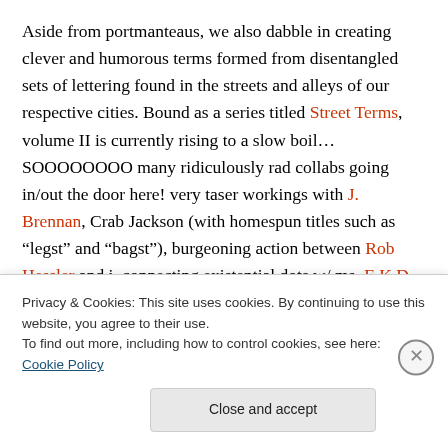Aside from portmanteaus, we also dabble in creating clever and humorous terms formed from disentangled sets of lettering found in the streets and alleys of our respective cities. Bound as a series titled Street Terms, volume II is currently rising to a slow boil… SOOOOOOOO many ridiculously rad collabs going in/out the door here! very taser workings with J. Brennan, Crab Jackson (with homespun titles such as “legst” and “bagst”), burgeoning action between Rob Hessler and i, connecting existential dots w/ ms. E.K.D., pyschogeographing from heart emoji to heart emoji w/ i
Privacy & Cookies: This site uses cookies. By continuing to use this website, you agree to their use.
To find out more, including how to control cookies, see here: Cookie Policy
Close and accept